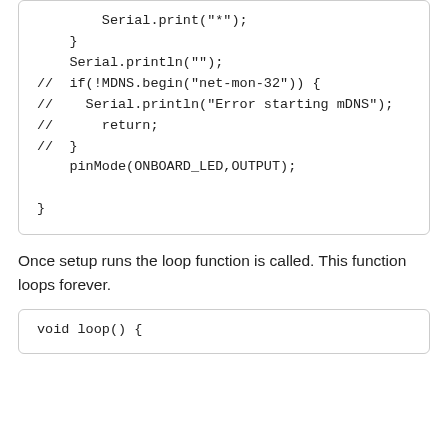[Figure (screenshot): Code block showing Arduino setup() function tail: Serial.print, Serial.println, commented-out MDNS code, and pinMode call followed by closing brace.]
Once setup runs the loop function is called. This function loops forever.
[Figure (screenshot): Code block showing beginning of Arduino loop() function: void loop() {]